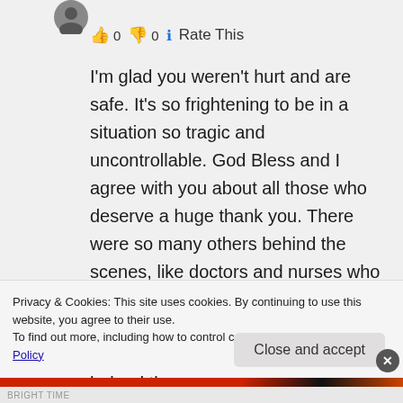👍 0 👎 0 ℹ Rate This
I'm glad you weren't hurt and are safe. It's so frightening to be in a situation so tragic and uncontrollable. God Bless and I agree with you about all those who deserve a huge thank you. There were so many others behind the scenes, like doctors and nurses who were running, then ended up jumping in to help, the two young men, back from military tour, who helped the
Privacy & Cookies: This site uses cookies. By continuing to use this website, you agree to their use.
To find out more, including how to control cookies, see here: Cookie Policy
Close and accept